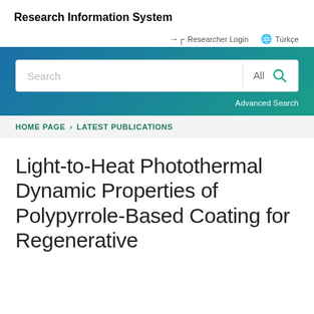Research Information System
Researcher Login   Türkçe
[Figure (screenshot): Search bar with text field showing 'Search', a divider, 'All' dropdown, and a teal magnifying glass icon, on a blue-to-teal gradient banner background. Below the search box is 'Advanced Search' link.]
HOME PAGE > LATEST PUBLICATIONS
Light-to-Heat Photothermal Dynamic Properties of Polypyrrole-Based Coating for Regenerative